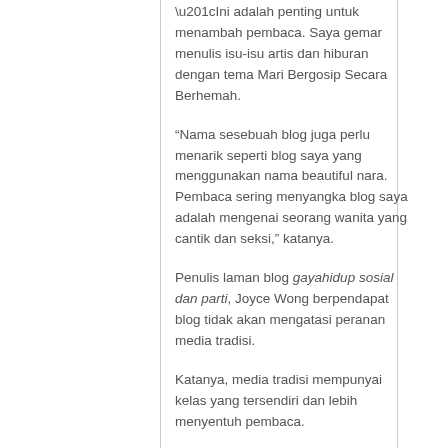“Ini adalah penting untuk menambah pembaca. Saya gemar menulis isu-isu artis dan hiburan dengan tema Mari Bergosip Secara Berhemah.
“Nama sesebuah blog juga perlu menarik seperti blog saya yang menggunakan nama beautiful nara. Pembaca sering menyangka blog saya adalah mengenai seorang wanita yang cantik dan seksi,” katanya.
Penulis laman blog gayahidup sosial dan parti, Joyce Wong berpendapat blog tidak akan mengatasi peranan media tradisi.
Katanya, media tradisi mempunyai kelas yang tersendiri dan lebih menyentuh pembaca.
Sementara Profesor Madya Michael